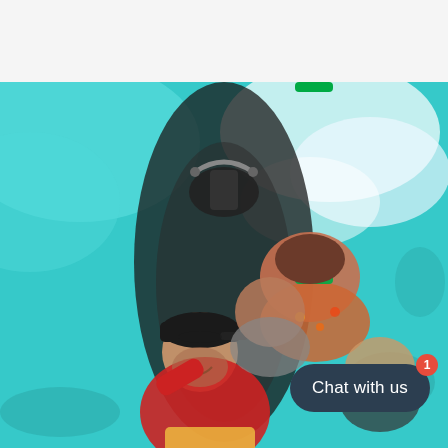[Figure (photo): Aerial selfie photo taken from a small inflatable boat on turquoise water. A man in a red jacket wearing a backwards cap is in the foreground taking the selfie. Behind him are other passengers including a person in a colorful floral shirt. The boat is on vivid blue-green tropical water with white wake behind it.]